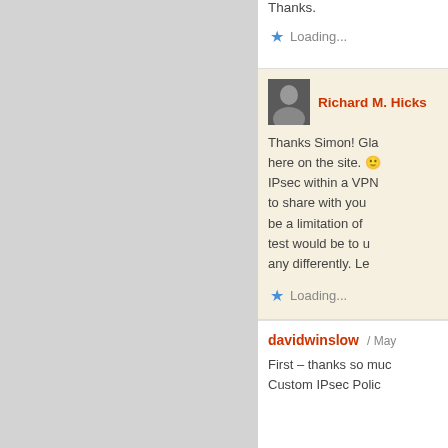Thanks.
Loading...
Richard M. Hicks
Thanks Simon! Glad to have you here on the site. IPsec within a VPN to share with you be a limitation of test would be to u any differently. Le
Loading...
davidwinslow / May
First – thanks so muc Custom IPsec Polic